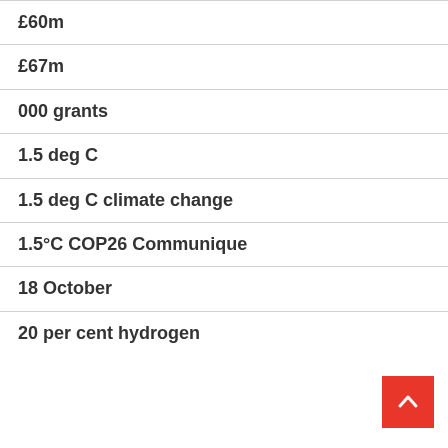£60m
£67m
000 grants
1.5 deg C
1.5 deg C climate change
1.5°C COP26 Communique
18 October
20 per cent hydrogen